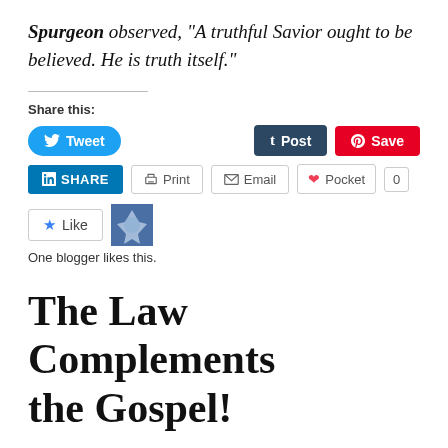Spurgeon observed, “A truthful Savior ought to be believed. He is truth itself.”
Share this:
[Figure (screenshot): Social sharing buttons: Tweet (Twitter), Post (Tumblr), Save (Pinterest), LinkedIn Share, Print, Email, Pocket with count 0]
[Figure (screenshot): Like button with star icon and a blogger avatar thumbnail]
One blogger likes this.
The Law Complements the Gospel!